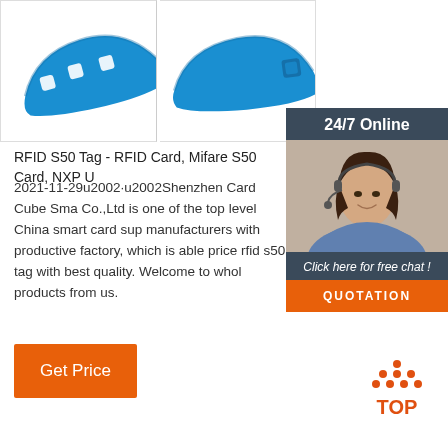[Figure (photo): Blue RFID silicone wristband tag shown from top, curved shape with holes]
[Figure (photo): Blue RFID silicone wristband tag shown from side angle with button clasp]
[Figure (infographic): 24/7 Online chat widget with woman wearing headset, click here for free chat and QUOTATION button]
RFID S50 Tag - RFID Card, Mifare S50 Card, NXP U
2021-11-29u2002·u2002Shenzhen Card Cube Sma Co.,Ltd is one of the top level China smart card sup manufacturers with productive factory, which is able price rfid s50 tag with best quality. Welcome to whol products from us.
[Figure (other): Orange Get Price button]
[Figure (other): TOP scroll-to-top button with orange dots icon]